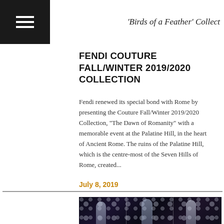'Birds of a Feather' Collect
FENDI COUTURE FALL/WINTER 2019/2020 COLLECTION
Fendi renewed its special bond with Rome by presenting the Couture Fall/Winter 2019/2020 Collection, “The Dawn of Romanity” with a memorable event at the Palatine Hill, in the heart of Ancient Rome. The ruins of the Palatine Hill, which is the centre-most of the Seven Hills of Rome, created...
July 8, 2019
[Figure (photo): Fashion show photo showing three models in elaborate couture gowns against a dark circular patterned backdrop]